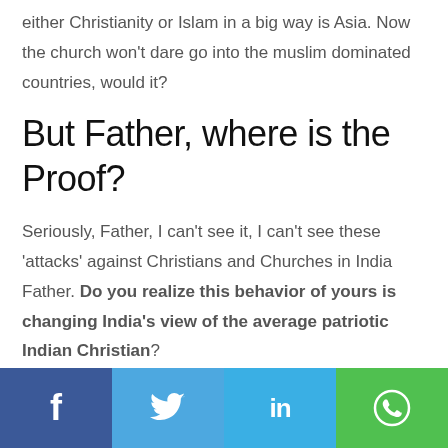either Christianity or Islam in a big way is Asia. Now the church won’t dare go into the muslim dominated countries, would it?
But Father, where is the Proof?
Seriously, Father, I can’t see it, I can’t see these ‘attacks’ against Christians and Churches in India Father. Do you realize this behavior of yours is changing India’s view of the average patriotic Indian Christian?
Social share bar: Facebook, Twitter, LinkedIn, WhatsApp